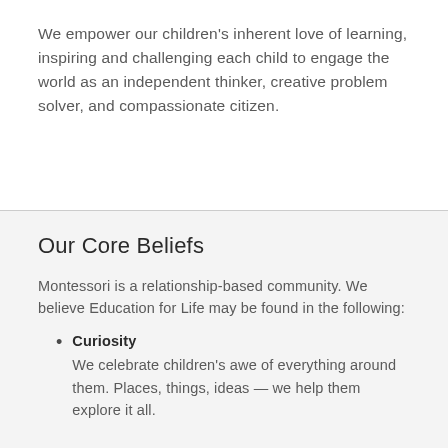We empower our children's inherent love of learning, inspiring and challenging each child to engage the world as an independent thinker, creative problem solver, and compassionate citizen.
Our Core Beliefs
Montessori is a relationship-based community. We believe Education for Life may be found in the following:
Curiosity — We celebrate children's awe of everything around them. Places, things, ideas — we help them explore it all.